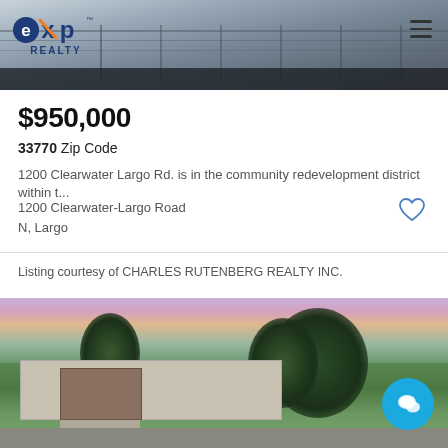[Figure (photo): Header photo showing a building exterior with railing and parking area, with eXp Realty logo overlay on the left and hamburger menu icon on the right]
$950,000
33770 Zip Code
1200 Clearwater Largo Rd. is in the community redevelopment district within t...
1200 Clearwater-Largo Road
N, Largo
Listing courtesy of CHARLES RUTENBERG REALTY INC.
[Figure (photo): Exterior photo of a single-story house with large trees in the yard, purple-pink sunset sky, and a blue chat bubble icon in the lower right]